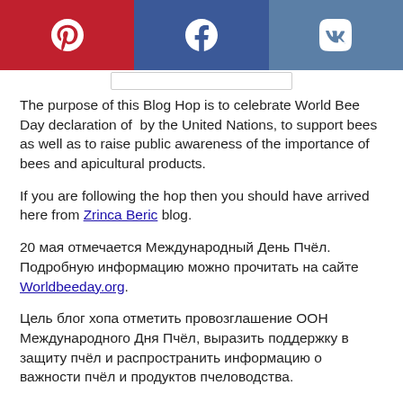[Figure (other): Social share buttons bar with Pinterest (red), Facebook (blue), VK (steel blue) icons in white]
The purpose of this Blog Hop is to celebrate World Bee Day declaration of  by the United Nations, to support bees as well as to raise public awareness of the importance of bees and apicultural products.
If you are following the hop then you should have arrived here from Zrinca Beric blog.
20 мая отмечается Международный День Пчёл. Подробную информацию можно прочитать на сайте  Worldbeeday.org.
Цель блог хопа отметить провозглашение ООН Международного Дня Пчёл, выразить поддержку в защиту пчёл и распространить информацию о важности пчёл и продуктов пчеловодства.
Ко мне Вы должны были прийти из блога Zrinca Beric.